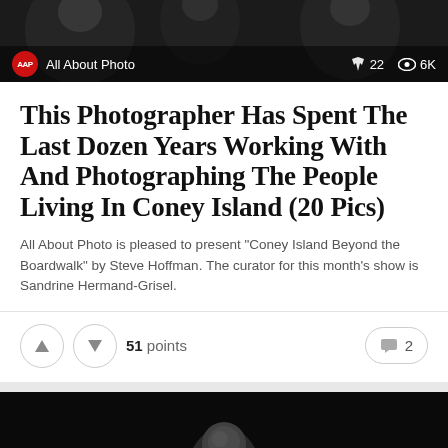[Figure (photo): Black and white close-up photo used as banner background, with AAP logo and 'All About Photo' text, share icon showing 22, eye icon showing 6K]
This Photographer Has Spent The Last Dozen Years Working With And Photographing The People Living In Coney Island (20 Pics)
All About Photo is pleased to present "Coney Island Beyond the Boardwalk" by Steve Hoffman. The curator for this month's show is Sandrine Hermand-Grisel.
51 points
2
[Figure (photo): Dark photograph showing a person (child/young person) partially visible against a very dark/black background]